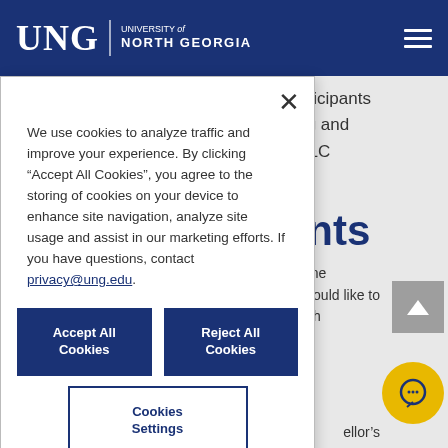[Figure (screenshot): UNG University of North Georgia logo/header in dark blue with hamburger menu icon]
participants
hing and
e FLC
ents
We use cookies to analyze traffic and improve your experience. By clicking “Accept All Cookies”, you agree to the storing of cookies on your device to enhance site navigation, analyze site usage and assist in our marketing efforts. If you have questions, contact privacy@ung.edu.
Accept All Cookies
Reject All Cookies
Cookies Settings
one
would like to
wh
ellor’s